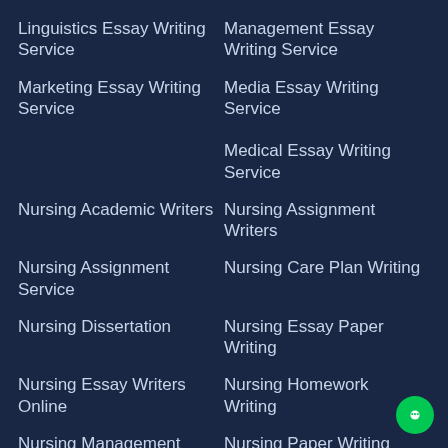Linguistics Essay Writing Service
Management Essay Writing Service
Marketing Essay Writing Service
Media Essay Writing Service
Medical Essay Writing Service
Nursing Academic Writers
Nursing Assignment Writers
Nursing Assignment Service
Nursing Care Plan Writing
Nursing Dissertation
Nursing Essay Paper Writing
Nursing Essay Writers Online
Nursing Homework Writing
Nursing Management Paper
Nursing Paper Writing Service
Nursing Report Writing Help
Nursing Research Paper
Nursing Writing Company
Nursing Writing Help Online
Online Custom Nursing Writing
Online Nursing Assignment
Online Nursing Coursework
Online Nursing Freelance